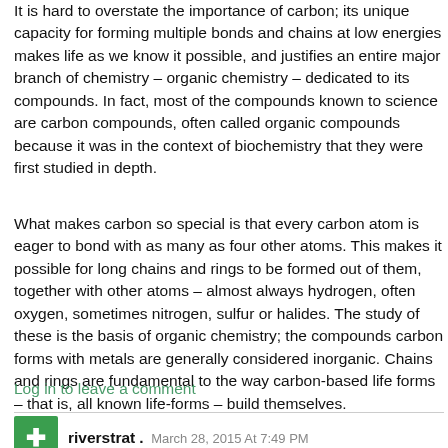It is hard to overstate the importance of carbon; its unique capacity for forming multiple bonds and chains at low energies makes life as we know it possible, and justifies an entire major branch of chemistry – organic chemistry – dedicated to its compounds. In fact, most of the compounds known to science are carbon compounds, often called organic compounds because it was in the context of biochemistry that they were first studied in depth.
What makes carbon so special is that every carbon atom is eager to bond with as many as four other atoms. This makes it possible for long chains and rings to be formed out of them, together with other atoms – almost always hydrogen, often oxygen, sometimes nitrogen, sulfur or halides. The study of these is the basis of organic chemistry; the compounds carbon forms with metals are generally considered inorganic. Chains and rings are fundamental to the way carbon-based life forms – that is, all known life-forms – build themselves.
Log in to leave a comment
riverstrat . March 28, 2015 At 7:49 PM